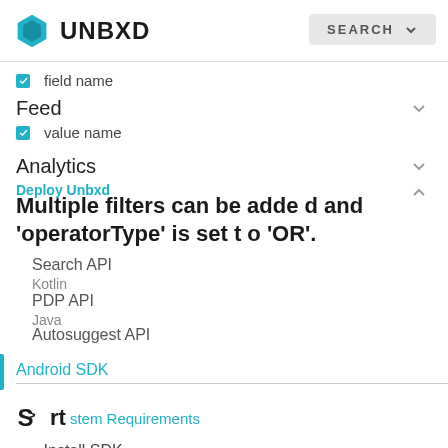UNBXD  SEARCH
field name
Feed
value name
Analytics
Multiple filters can be added and 'operatorType' is set to 'OR'.
Deploy Unbxd
Search API
Kotlin
PDP API
Java
Autosuggest API
Android SDK
Sort
System Requirements
Install SDK